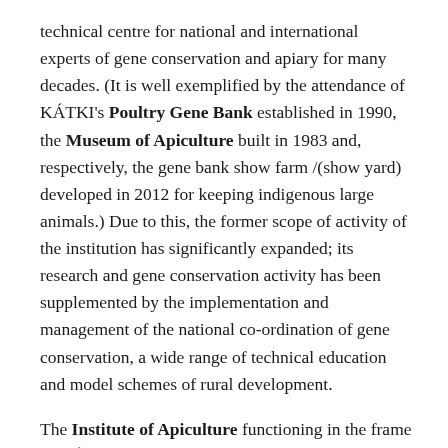technical centre for national and international experts of gene conservation and apiary for many decades. (It is well exemplified by the attendance of KÁTKI's Poultry Gene Bank established in 1990, the Museum of Apiculture built in 1983 and, respectively, the gene bank show farm /(show yard) developed in 2012 for keeping indigenous large animals.) Due to this, the former scope of activity of the institution has significantly expanded; its research and gene conservation activity has been supplemented by the implementation and management of the national co-ordination of gene conservation, a wide range of technical education and model schemes of rural development.
The Institute of Apiculture functioning in the frame of KÁTKI managed to regain its rank and name as an institute in 2010, when KÁTKI was reorganized. Therefore, an outlined historic review of KÁTKI cannot be complete without a thorough description of this institution of international reputation. Its predecessor, the State Bee-Farm /State Apiary